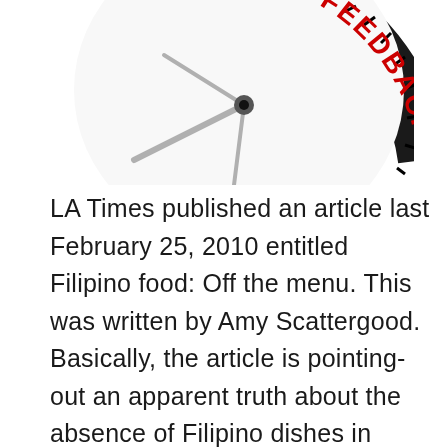[Figure (photo): A clock face shown at an angle, with clock hands visible and the word 'FEEDBACK' printed in red bold letters along the curved rim of the clock face, with black tick marks. The background is white.]
LA Times published an article last February 25, 2010 entitled Filipino food: Off the menu. This was written by Amy Scattergood. Basically, the article is pointing-out an apparent truth about the absence of Filipino dishes in acclaimed restaurants in L.A. The author named some celebrated Filipino chefs in